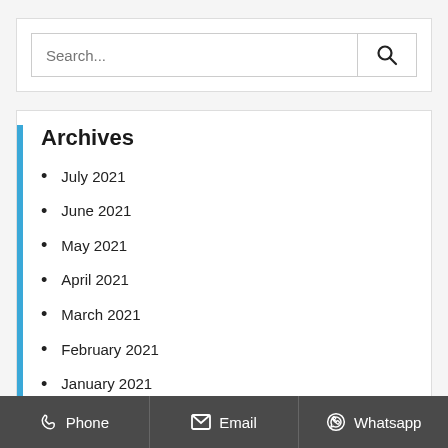Search...
Archives
July 2021
June 2021
May 2021
April 2021
March 2021
February 2021
January 2021
December 2020
November 2020
Phone   Email   Whatsapp